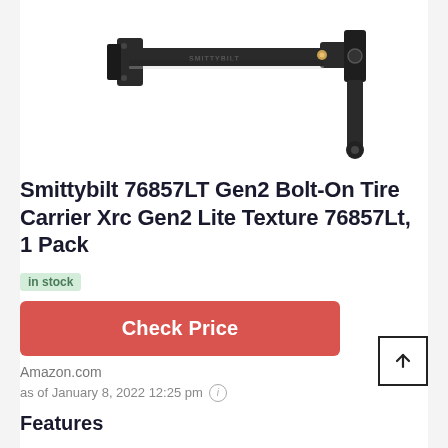[Figure (photo): Product photo of Smittybilt 76857LT tire carrier showing a black metal arm mechanism, partially cropped at top of frame]
Smittybilt 76857LT Gen2 Bolt-On Tire Carrier Xrc Gen2 Lite Texture 76857Lt, 1 Pack
in stock
Check Price
Amazon.com
as of January 8, 2022 12:25 pm
Features